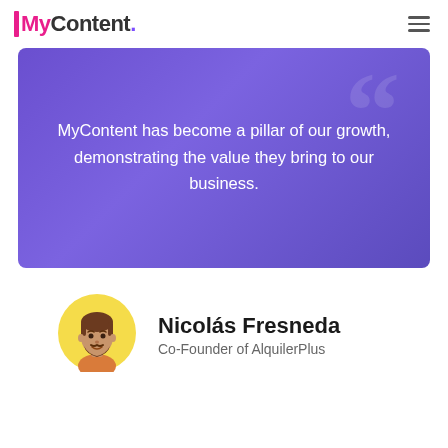IMyContent.
MyContent has become a pillar of our growth, demonstrating the value they bring to our business.
Nicolás Fresneda
Co-Founder of AlquilerPlus
[Figure (illustration): Cartoon avatar of a man with brown hair and beard on a yellow circular background representing Nicolás Fresneda]